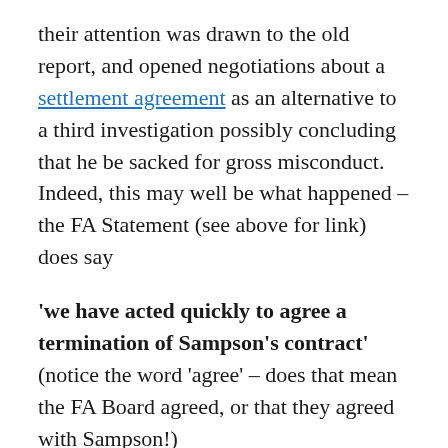their attention was drawn to the old report, and opened negotiations about a settlement agreement as an alternative to a third investigation possibly concluding that he be sacked for gross misconduct. Indeed, this may well be what happened – the FA Statement (see above for link) does say
'we have acted quickly to agree a termination of Sampson's contract' (notice the word 'agree' – does that mean the FA Board agreed, or that they agreed with Sampson!)
They clearly had substantial reputational issues which would have legitimised this approach, although the danger of white washing